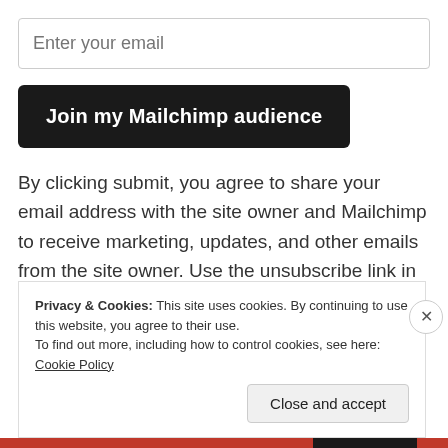Enter your email
Join my Mailchimp audience
By clicking submit, you agree to share your email address with the site owner and Mailchimp to receive marketing, updates, and other emails from the site owner. Use the unsubscribe link in those emails to opt out at any time.
Privacy & Cookies: This site uses cookies. By continuing to use this website, you agree to their use.
To find out more, including how to control cookies, see here: Cookie Policy
Close and accept